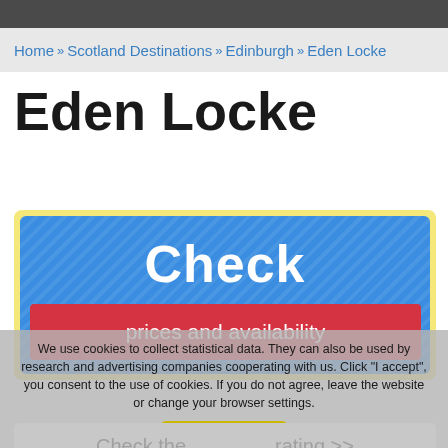Home » Scotland Destinations » Edinburgh » Eden Locke
Eden Locke
[Figure (screenshot): Blue striped booking widget with 'Check' in large white text and a red 'prices and availability' button below]
We use cookies to collect statistical data. They can also be used by research and advertising companies cooperating with us. Click "I accept", you consent to the use of cookies. If you do not agree, leave the website or change your browser settings.
I accept